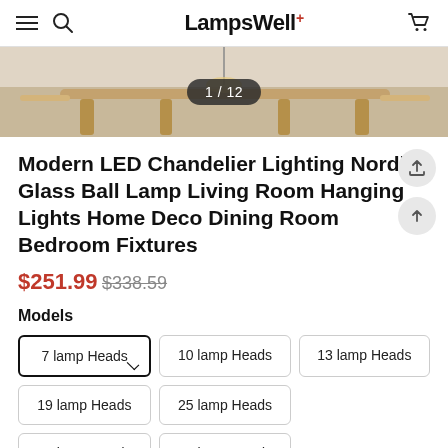LampsWell
[Figure (photo): Product image of a modern chandelier with furniture in background, showing counter badge 1 / 12]
Modern LED Chandelier Lighting Nordic Glass Ball Lamp Living Room Hanging Lights Home Deco Dining Room Bedroom Fixtures
$251.99  $338.59
Models
7 lamp Heads
10 lamp Heads
13 lamp Heads
19 lamp Heads
25 lamp Heads
31 lamp Heads
50 lamp Heads
Emitting